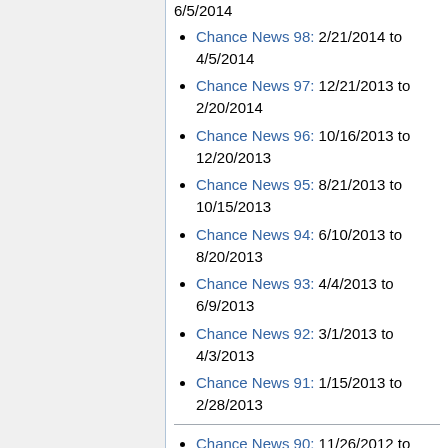Chance News 98: 2/21/2014 to 4/5/2014
Chance News 97: 12/21/2013 to 2/20/2014
Chance News 96: 10/16/2013 to 12/20/2013
Chance News 95: 8/21/2013 to 10/15/2013
Chance News 94: 6/10/2013 to 8/20/2013
Chance News 93: 4/4/2013 to 6/9/2013
Chance News 92: 3/1/2013 to 4/3/2013
Chance News 91: 1/15/2013 to 2/28/2013
Chance News 90: 11/26/2012 to 1/14/2013
Chance News 89: 10/16/2012 to